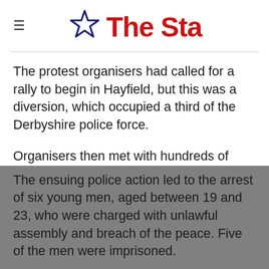The Star
The protest organisers had called for a rally to begin in Hayfield, but this was a diversion, which occupied a third of the Derbyshire police force.
Organisers then met with hundreds of ramblers at Bowden Bridge Quarry before setting off.
The ensuing police action led to the arrest of six young men, aged between 19 and 23, who were charged with unlawful assembly and breach of the peace. Five of the men were imprisoned.